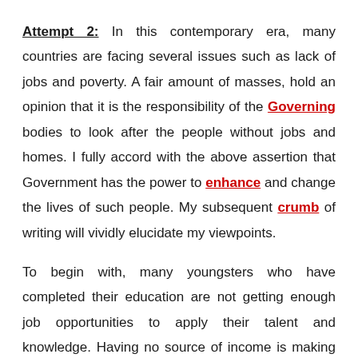Attempt 2: In this contemporary era, many countries are facing several issues such as lack of jobs and poverty. A fair amount of masses, hold an opinion that it is the responsibility of the Governing bodies to look after the people without jobs and homes. I fully accord with the above assertion that Government has the power to enhance and change the lives of such people. My subsequent crumb of writing will vividly elucidate my viewpoints.
To begin with, many youngsters who have completed their education are not getting enough job opportunities to apply their talent and knowledge. Having no source of income is making them hopeless